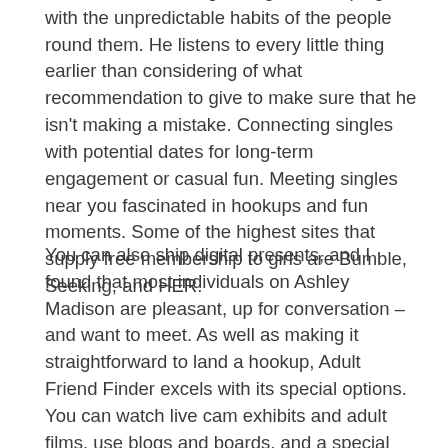those that are having a tough time coping with the unpredictable habits of the people round them. He listens to every little thing earlier than considering of what recommendation to give to make sure that he isn't making a mistake. Connecting singles with potential dates for long-term engagement or casual fun. Meeting singles near you fascinated in hookups and fun moments. Some of the highest sites that supply free membership to girls are Bumble, Seeking, and HER.
You can also ship digital presents, and I found that most individuals on Ashley Madison are pleasant, up for conversation – and want to meet. As well as making it straightforward to land a hookup, Adult Friend Finder excels with its special options. You can watch live cam exhibits and adult films, use blogs and boards, and a special Sex Academy feature that's nice for studying extra about all completely different sexual kinks. This hookup web site is free to affix, but you must be a paying member to ship and receive messages. Profiles